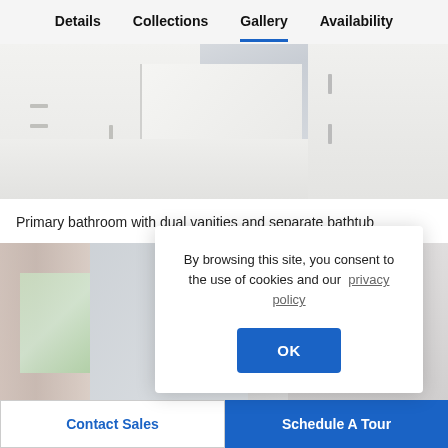Details   Collections   Gallery   Availability
[Figure (photo): Primary bathroom showing white cabinetry, dual vanities with bar handles, wall panel, and light-colored flooring viewed from above.]
Primary bathroom with dual vanities and separate bathtub
[Figure (photo): Bedroom or living area with curtains, window with green tree view outside, light walls with horizontal paneling accent.]
By browsing this site, you consent to the use of cookies and our privacy policy
OK
Contact Sales   Schedule A Tour